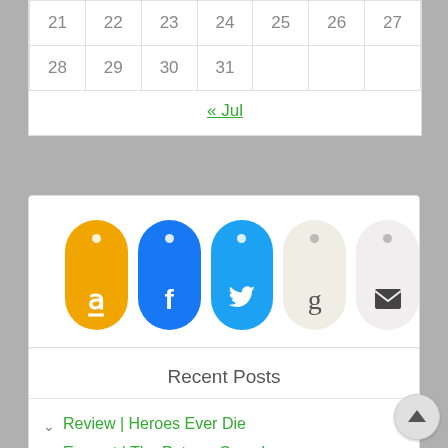| 21 | 22 | 23 | 24 | 25 | 26 | 27 |
| 28 | 29 | 30 | 31 |  |  |  |
« Jul
[Figure (infographic): Five social media / app icon pills: Amazon (orange), Facebook (dark blue), Twitter (light blue), Goodreads (beige), Email (light gray)]
Recent Posts
Review | Heroes Ever Die
Excerpt | The Potrero Complex